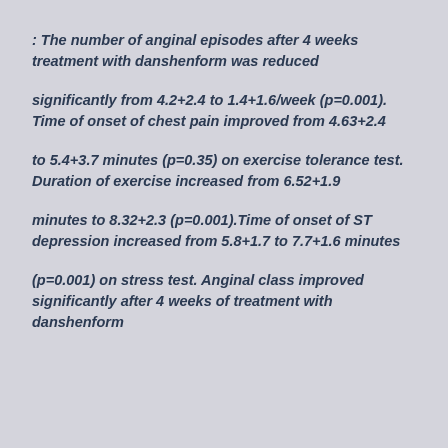: The number of anginal episodes after 4 weeks treatment with danshenform was reduced
significantly from 4.2+2.4 to 1.4+1.6/week (p=0.001). Time of onset of chest pain improved from 4.63+2.4
to 5.4+3.7 minutes (p=0.35) on exercise tolerance test. Duration of exercise increased from 6.52+1.9
minutes to 8.32+2.3 (p=0.001).Time of onset of ST depression increased from 5.8+1.7 to 7.7+1.6 minutes
(p=0.001) on stress test. Anginal class improved significantly after 4 weeks of treatment with danshenform